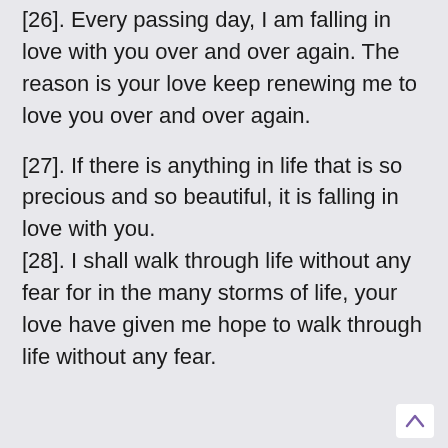[26]. Every passing day, I am falling in love with you over and over again. The reason is your love keep renewing me to love you over and over again.
[27]. If there is anything in life that is so precious and so beautiful, it is falling in love with you.
[28]. I shall walk through life without any fear for in the many storms of life, your love have given me hope to walk through life without any fear.